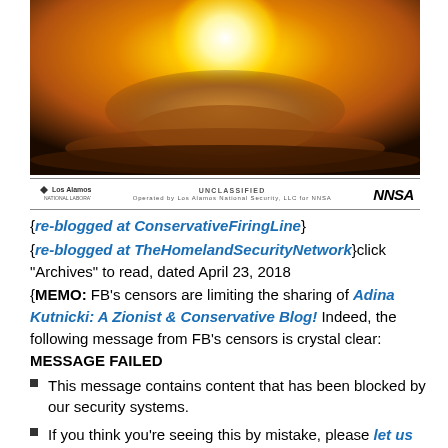[Figure (photo): Nuclear explosion mushroom cloud photograph with orange/amber tones, with Los Alamos National Laboratory and NNSA logos and UNCLASSIFIED marking in a footer bar below the image.]
{re-blogged at ConservativeFiringLine}
{re-blogged at TheHomelandSecurityNetwork}click "Archives" to read, dated April 23, 2018
{MEMO: FB’s censors are limiting the sharing of Adina Kutnicki: A Zionist & Conservative Blog! Indeed, the following message from FB’s censors is crystal clear:
MESSAGE FAILED
This message contains content that has been blocked by our security systems.
If you think you’re seeing this by mistake, please let us know.                Yes, additional “proof-in-the